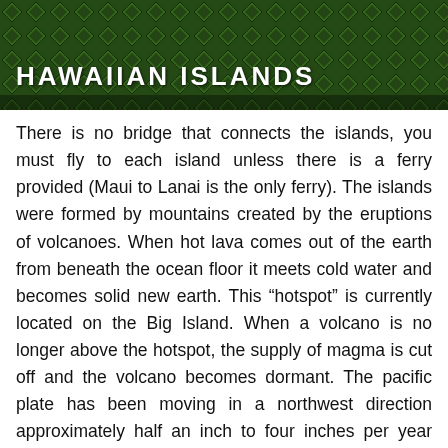HAWAIIAN ISLANDS
There is no bridge that connects the islands, you must fly to each island unless there is a ferry provided (Maui to Lanai is the only ferry). The islands were formed by mountains created by the eruptions of volcanoes. When hot lava comes out of the earth from beneath the ocean floor it meets cold water and becomes solid new earth. This “hotspot” is currently located on the Big Island. When a volcano is no longer above the hotspot, the supply of magma is cut off and the volcano becomes dormant. The pacific plate has been moving in a northwest direction approximately half an inch to four inches per year taking each island away from the hotspot. The youngest island is the Big Island, the oldest are Niihau and Kauai. It is estimated that Kauai is between 3.8 and 5.6 million years old, Oahu is 2.2-3.3 million years old, Molokai is 1.3 to 1.8 million years old, Maui is less than 1 million years old and the northwest side of Big Island (furthest from the